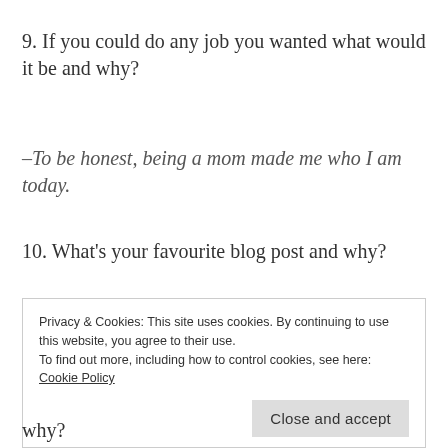9. If you could do any job you wanted what would it be and why?
–To be honest, being a mom made me who I am today.
10. What's your favourite blog post and why?
Privacy & Cookies: This site uses cookies. By continuing to use this website, you agree to their use.
To find out more, including how to control cookies, see here: Cookie Policy
Close and accept
why?